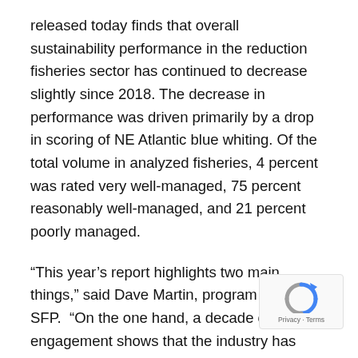released today finds that overall sustainability performance in the reduction fisheries sector has continued to decrease slightly since 2018. The decrease in performance was driven primarily by a drop in scoring of NE Atlantic blue whiting. Of the total volume in analyzed fisheries, 4 percent was rated very well-managed, 75 percent reasonably well-managed, and 21 percent poorly managed.
“This year’s report highlights two main things,” said Dave Martin, program director at SFP.  “On the one hand, a decade of engagement shows that the industry has been instrumental in supporting improvements in fisheries management in key fisheries.  On the other, overall performance has plateaued or slipped, and significant environmental and social challenges persist in key production regions.”
The report, which is the 12th edition of the annual